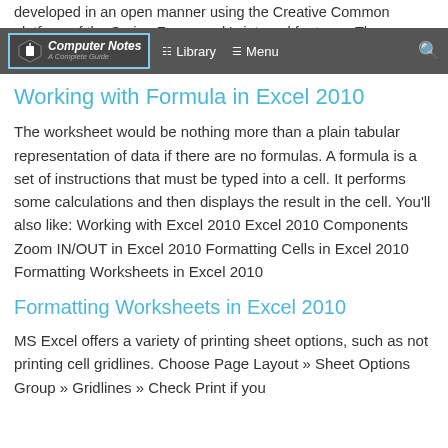developed in an open manner using the Creative Common platform of the Spring Framework's integral features. The majority of the functionality can [...]
Computer Notes - A Complete Guide | Library | Menu
Working with Formula in Excel 2010
The worksheet would be nothing more than a plain tabular representation of data if there are no formulas. A formula is a set of instructions that must be typed into a cell. It performs some calculations and then displays the result in the cell. You'll also like: Working with Excel 2010 Excel 2010 Components Zoom IN/OUT in Excel 2010 Formatting Cells in Excel 2010 Formatting Worksheets in Excel 2010
Formatting Worksheets in Excel 2010
MS Excel offers a variety of printing sheet options, such as not printing cell gridlines. Choose Page Layout » Sheet Options Group » Gridlines » Check Print if you